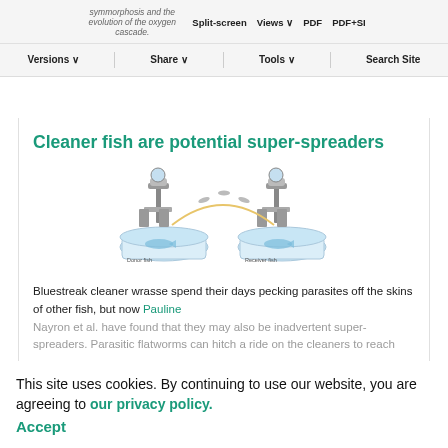Split-screen | Views | PDF | PDF+SI
Versions | Share | Tools | Search Site
Cleaner fish are potential super-spreaders
[Figure (illustration): Scientific illustration showing two laboratory trays with fish, connected by an arc with small fish silhouettes traveling between them. Left tray labeled 'Donor fish', right tray labeled 'Receiver fish'. Microscopes positioned above each tray.]
Bluestreak cleaner wrasse spend their days pecking parasites off the skins of other fish, but now Pauline Nayron et al. have found that they may also be inadvertent super-spreaders. Parasitic flatworms can hitch a ride on the cleaners to reach
This site uses cookies. By continuing to use our website, you are agreeing to our privacy policy. Accept